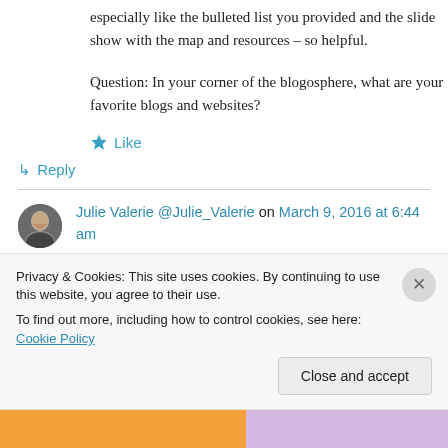especially like the bulleted list you provided and the slide show with the map and resources – so helpful.
Question: In your corner of the blogosphere, what are your favorite blogs and websites?
★ Like
↵ Reply
Julie Valerie @Julie_Valerie on March 9, 2016 at 6:44 am
Privacy & Cookies: This site uses cookies. By continuing to use this website, you agree to their use.
To find out more, including how to control cookies, see here: Cookie Policy
Close and accept